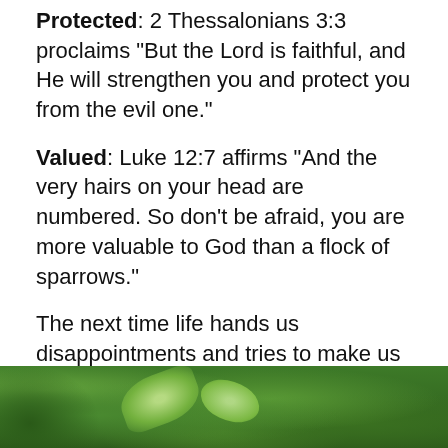Protected: 2 Thessalonians 3:3 proclaims “But the Lord is faithful, and He will strengthen you and protect you from the evil one.”
Valued: Luke 12:7 affirms “And the very hairs on your head are numbered. So don’t be afraid, you are more valuable to God than a flock of sparrows.”
The next time life hands us disappointments and tries to make us think negatively about ourselves, let’s capture those thoughts and replace them with God’s truth! We ARE who God says we are.
(If you'd like a deck of the Bible ABC cards, please let me know in the comments. I’ll do my best to send you one 😊).
[Figure (photo): A photo of green leafy plants/foliage, visible at the bottom strip of the page.]